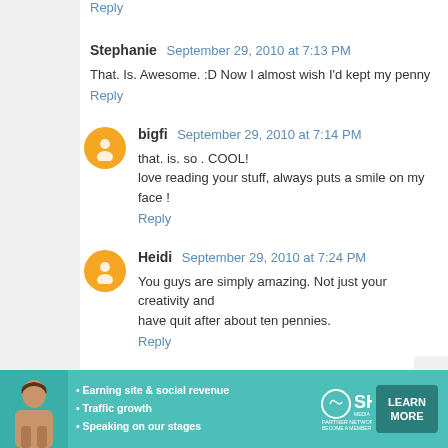Reply
Stephanie   September 29, 2010 at 7:13 PM
That. Is. Awesome. :D Now I almost wish I'd kept my penny
Reply
bigfi   September 29, 2010 at 7:14 PM
that. is. so . COOL!
love reading your stuff, always puts a smile on my face !
Reply
Heidi   September 29, 2010 at 7:24 PM
You guys are simply amazing. Not just your creativity and have quit after about ten pennies.
Reply
Pamela   September 29, 2010 at 7:54 PM
Absolutely wonderful!
[Figure (infographic): SHE Partner Network advertisement banner with woman photo, bullet points about earning site & social revenue, traffic growth, speaking on our stages, SHE logo, and LEARN MORE button]